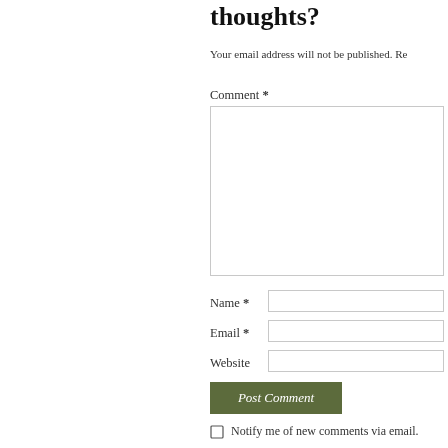thoughts?
Your email address will not be published. Re
Comment *
Name *
Email *
Website
Post Comment
Notify me of new comments via email.
Notify me of new posts via email.